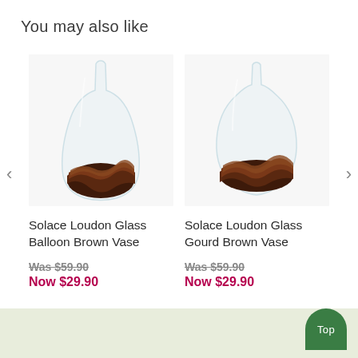You may also like
[Figure (photo): Solace Loudon Glass Balloon Brown Vase — a clear glass balloon-shaped vase with brown layered sand/material at the bottom]
Solace Loudon Glass Balloon Brown Vase
Was $59.90
Now $29.90
[Figure (photo): Solace Loudon Glass Gourd Brown Vase — a clear glass gourd-shaped vase with brown layered sand/material at the bottom]
Solace Loudon Glass Gourd Brown Vase
Was $59.90
Now $29.90